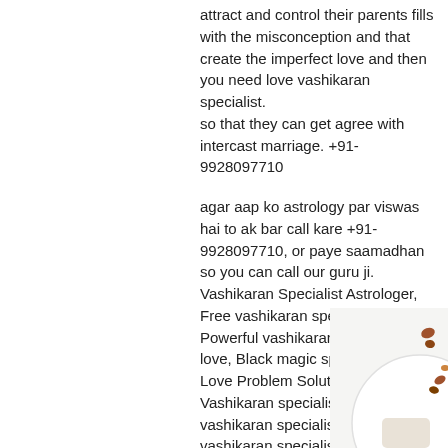attract and control their parents fills with the misconception and that create the imperfect love and then you need love vashikaran specialist.
so that they can get agree with intercast marriage. +91-9928097710

agar aap ko astrology par viswas hai to ak bar call kare +91-9928097710, or paye saamadhan so you can call our guru ji. Vashikaran Specialist Astrologer, Free vashikaran specialist, Powerful vashikaran specialist for love, Black magic specialist Molvi ji, Love Problem Solution Baba ji, Vashikaran specialist, Powerful vashikaran specialist, Love vashikaran specialist, Vashikaran specialist in Delhi, Love vashikaran specialist baba ji, Vashikaran specialist near me, Black magic specialist Aghori Baba, Love vashikaran specialist, Kala jadu Expert Molvi ji, Powerful vashikaran specialist, Vashikaran specialist
[Figure (photo): Partial view of a white plate with spices/nuts scattered around it, on a white background]